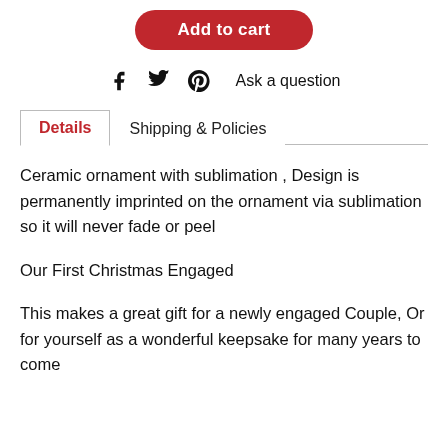[Figure (other): Add to cart button (red rounded button with white text)]
Ask a question
Details	Shipping & Policies
Ceramic ornament with sublimation , Design is permanently imprinted on the ornament via sublimation so it will never fade or peel
Our First Christmas Engaged
This makes a great gift for a newly engaged Couple, Or for yourself as a wonderful keepsake for many years to come